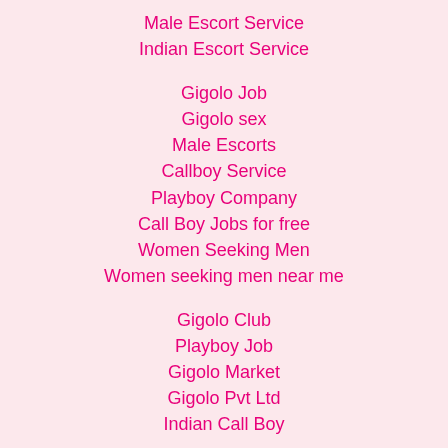Male Escort Service
Indian Escort Service
Gigolo Job
Gigolo sex
Male Escorts
Callboy Service
Playboy Company
Call Boy Jobs for free
Women Seeking Men
Women seeking men near me
Gigolo Club
Playboy Job
Gigolo Market
Gigolo Pvt Ltd
Indian Call Boy